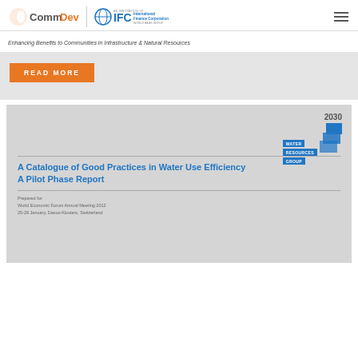CommDev | IFC International Finance Corporation — Enhancing Benefits to Communities in Infrastructure & Natural Resources
READ MORE
[Figure (screenshot): Cover page of '2030 Water Resources Group' report. Title: A Catalogue of Good Practices in Water Use Efficiency — A Pilot Phase Report. Prepared for World Economic Forum Annual Meeting 2012, 25-29 January, Davos-Klosters, Switzerland. Features the 2030 Water Resources Group logo with blue stacked bars.]